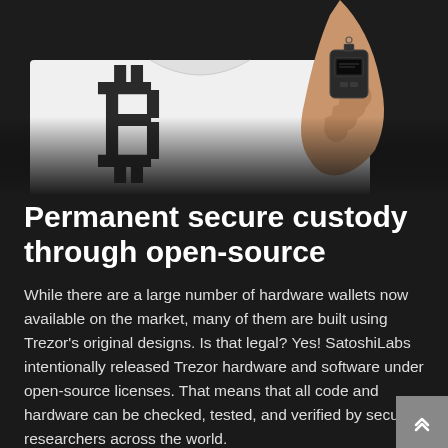[Figure (photo): Person wearing a white t-shirt with a large Bitcoin logo, holding up a small black Trezor hardware wallet device toward the camera against a dark background.]
Permanent secure custody through open-source
While there are a large number of hardware wallets now available on the market, many of them are built using Trezor's original designs. Is that legal? Yes! SatoshiLabs intentionally released Trezor hardware and software under open-source licenses. That means that all code and hardware can be checked, tested, and verified by security researchers across the world.
Being open-source means there's nothing to hide: no